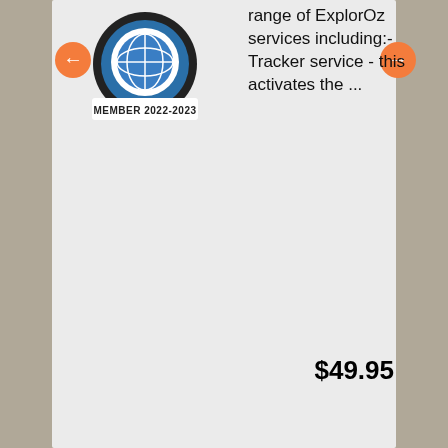[Figure (logo): ExplorOz Member 2022-2023 badge/seal with circular design, compass rose in blue and white, text MEMBER 2022-2023 at bottom]
range of ExplorOz services including:- Tracker service - this activates the ...
$49.95